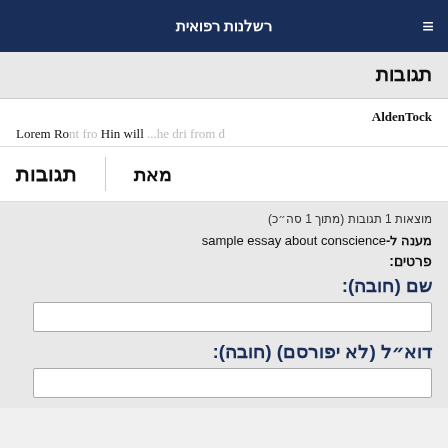רשלנות רפואית
תגובות
AldenTock
Lorem Ipsum from Hin will ...
תגובות
מאת
מוצאות 1 תגובות (מתוך 1 סה״כ)
מענה ל-sample essay about conscience
פרטים:
שם (חובה):
דוא״ל (לא יפורסם) (חובה):